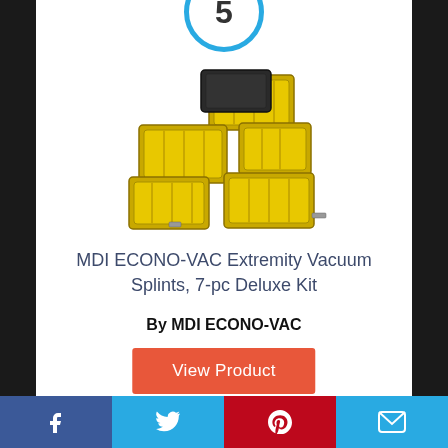5
[Figure (photo): Yellow MDI ECONO-VAC vacuum splints set, 7 pieces scattered/stacked]
MDI ECONO-VAC Extremity Vacuum Splints, 7-pc Deluxe Kit
By MDI ECONO-VAC
View Product
8.5
Score
Facebook | Twitter | Pinterest | Email